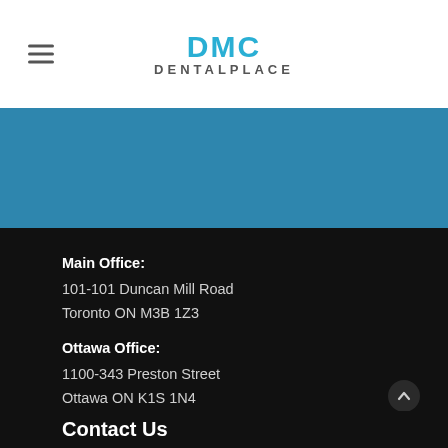[Figure (logo): DMC Dental Place logo with teal/blue text and hamburger menu icon]
[Figure (photo): Blue banner/hero section]
Main Office:
101-101 Duncan Mill Road
Toronto ON M3B 1Z3
Ottawa Office:
1100-343 Preston Street
Ottawa ON K1S 1N4
Contact Us